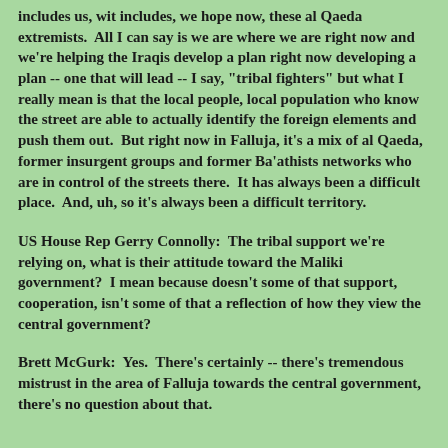includes us, wit includes, we hope now, these al Qaeda extremists.  All I can say is we are where we are right now and we're helping the Iraqis develop a plan right now developing a plan -- one that will lead -- I say, "tribal fighters" but what I really mean is that the local people, local population who know the street are able to actually identify the foreign elements and push them out.  But right now in Falluja, it's a mix of al Qaeda, former insurgent groups and former Ba'athists networks who are in control of the streets there.  It has always been a difficult place.  And, uh, so it's always been a difficult territory.
US House Rep Gerry Connolly:  The tribal support we're relying on, what is their attitude toward the Maliki government?  I mean because doesn't some of that support, cooperation, isn't some of that a reflection of how they view the central government?
Brett McGurk:  Yes.  There's certainly -- there's tremendous mistrust in the area of Falluja towards the central government, there's no question about that.